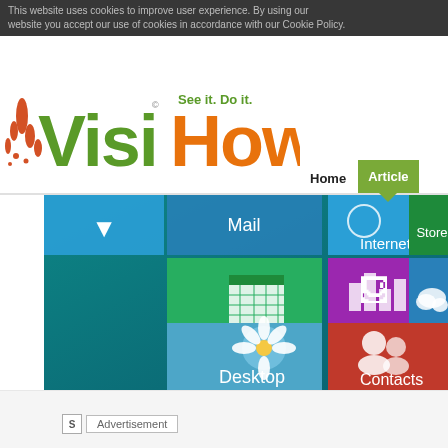This website uses cookies to improve user experience. By using our website you accept our use of cookies in accordance with our Cookie Policy.
[Figure (logo): VisiHow logo with tagline 'See it. Do it.' - green and orange text]
Home | Articles
[Figure (screenshot): Windows 8 Start Screen showing tiles: Mail, Internet, Store, Calendar, Maps, SkyDrive, Desktop, Contacts]
Advertisement